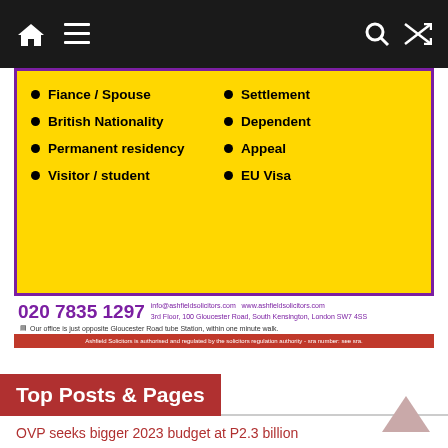Navigation bar with home, menu, search, and shuffle icons
[Figure (infographic): Ashfield Solicitors advertisement on yellow background with purple border listing services: Fiance/Spouse, British Nationality, Permanent residency, Visitor/student, Settlement, Dependent, Appeal, EU Visa. Phone: 020 7835 1297, info@ashfieldsolicitors.com, www.ashfieldsolicitors.com, 3rd Floor, 100 Gloucester Road, South Kensington, London SW7 4SS. Red bar at bottom: Ashfield Solicitors is authorised and regulated by the solicitors regulation authority.]
Top Posts & Pages
OVP seeks bigger 2023 budget at P2.3 billion
Sunshine Cruz rejoices after court annuls her marriage to Cesar Montano
LOOK: Have a Private Beach All to Yourself at This Bali-Inspired A-Frame Villa in Cebu
THE STORY OF A NATION